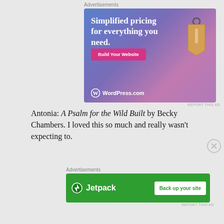Advertisements
[Figure (illustration): WordPress.com advertisement with gradient blue-purple-pink background, price tag graphic, 'Simplified pricing for everything you need.' headline, 'Build Your Website' pink button, and WordPress.com logo]
Antonia: A Psalm for the Wild Built by Becky Chambers. I loved this so much and really wasn't expecting to.
Advertisements
[Figure (illustration): Jetpack advertisement with green background, Jetpack logo, and 'Back up your site' white button]